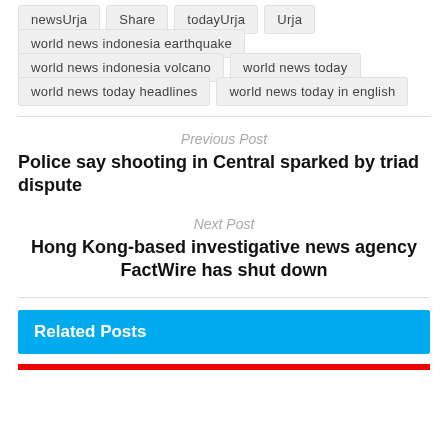newsUrja
Share
todayUrja
Urja
world news indonesia earthquake
world news indonesia volcano
world news today
world news today headlines
world news today in english
Previous Post
Police say shooting in Central sparked by triad dispute
Next Post
Hong Kong-based investigative news agency FactWire has shut down
Related Posts